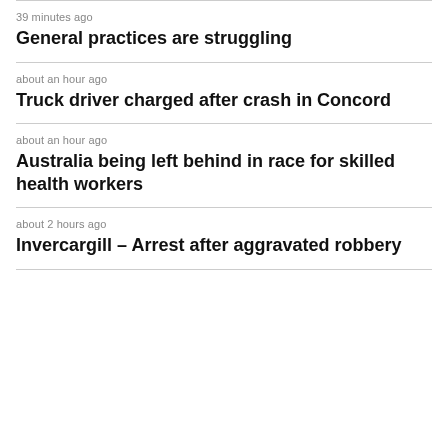39 minutes ago
General practices are struggling
about an hour ago
Truck driver charged after crash in Concord
about an hour ago
Australia being left behind in race for skilled health workers
about 2 hours ago
Invercargill – Arrest after aggravated robbery